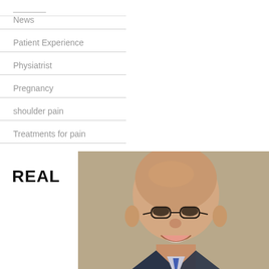News
Patient Experience
Physiatrist
Pregnancy
shoulder pain
Treatments for pain
REAL
[Figure (photo): Headshot of a bald middle-aged man with glasses, smiling, wearing a suit and tie, against a neutral beige/tan background]